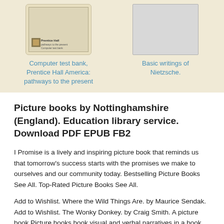[Figure (illustration): Book cover thumbnail for 'Computer test bank, Prentice Hall America: pathways to the present' showing a beige/tan book cover with small text]
Computer test bank, Prentice Hall America: pathways to the present
[Figure (illustration): Book cover thumbnail for 'Basic writings of Nietzsche' shown as a gray/light rectangle]
Basic writings of Nietzsche.
Picture books by Nottinghamshire (England). Education library service. Download PDF EPUB FB2
I Promise is a lively and inspiring picture book that reminds us that tomorrow's success starts with the promises we make to ourselves and our community today. Bestselling Picture Books See All. Top-Rated Picture Books See All.
Add to Wishlist. Where the Wild Things Are. by Maurice Sendak. Add to Wishlist. The Wonky Donkey. by Craig Smith. A picture book Picture books book visual and verbal narratives in a book format, most often aimed at young children. The images in picture books use a range of